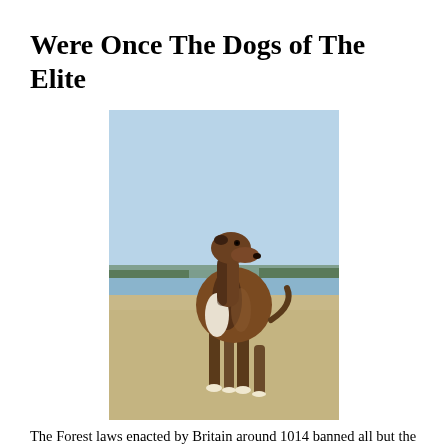Were Once The Dogs of The Elite
[Figure (photo): A lean brindle greyhound or whippet dog standing on a sandy beach with blue sky and distant treeline in the background.]
The Forest laws enacted by Britain around 1014 banned all but the